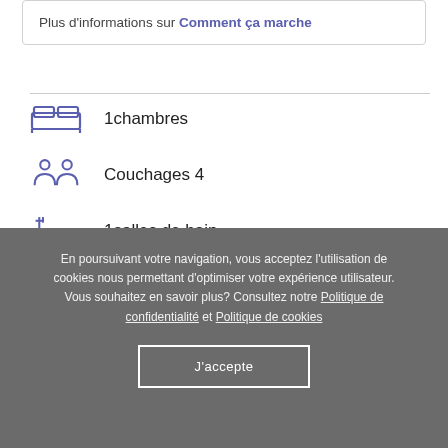Plus d'informations sur Comment ça marche
1 chambres
Couchages 4
1 salles de bain
Notre maison
En poursuivant votre navigation, vous acceptez l'utilisation de cookies nous permettant d'optimiser votre expérience utilisateur. Vous souhaitez en savoir plus? Consultez notre Politique de confidentialité et Politique de cookies
J'accepte